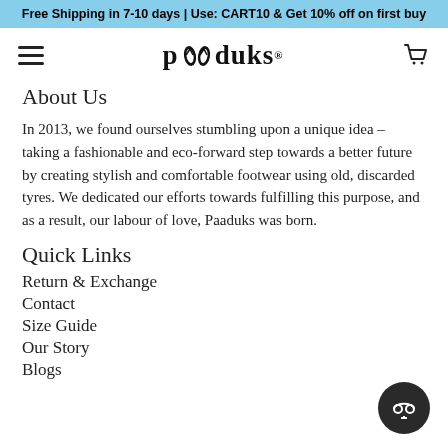Free Shipping in 7-10 days | Use: CART10 & Get 10% off on first buy
[Figure (logo): Paaduks brand logo with flip-flop icons]
About Us
In 2013, we found ourselves stumbling upon a unique idea – taking a fashionable and eco-forward step towards a better future by creating stylish and comfortable footwear using old, discarded tyres. We dedicated our efforts towards fulfilling this purpose, and as a result, our labour of love, Paaduks was born.
Quick Links
Return & Exchange
Contact
Size Guide
Our Story
Blogs